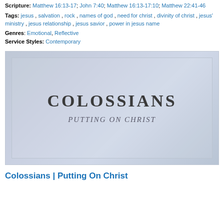Scripture: Matthew 16:13-17; John 7:40; Matthew 16:13-17:10; Matthew 22:41-46
Tags: jesus, salvation, rock, names of god, need for christ, divinity of christ, jesus' ministry, jesus relationship, jesus savior, power in jesus name
Genres: Emotional, Reflective
Service Styles: Contemporary
[Figure (illustration): Book series cover image with a faded blue-gray background showing a bearded figure, with a bordered inner frame. Large bold serif text reads 'COLOSSIANS' and italic text below reads 'PUTTING ON CHRIST'.]
Colossians | Putting On Christ